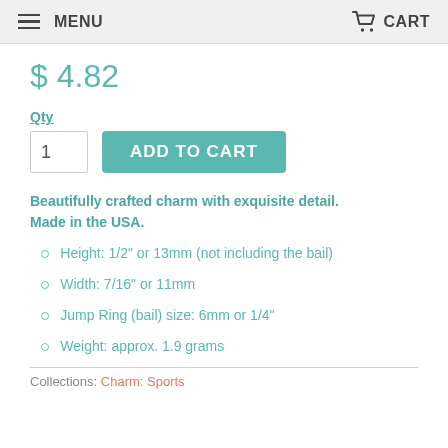MENU  CART
$ 4.82
Qty
1  ADD TO CART
Beautifully crafted charm with exquisite detail. Made in the USA.
Height: 1/2" or 13mm (not including the bail)
Width: 7/16" or 11mm
Jump Ring (bail) size: 6mm or 1/4"
Weight: approx. 1.9 grams
Collections: Charm: Sports